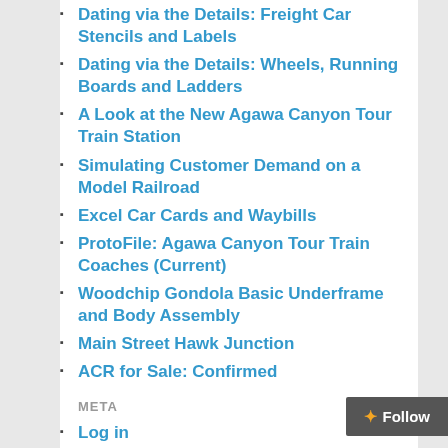Dating via the Details: Freight Car Stencils and Labels
Dating via the Details: Wheels, Running Boards and Ladders
A Look at the New Agawa Canyon Tour Train Station
Simulating Customer Demand on a Model Railroad
Excel Car Cards and Waybills
ProtoFile: Agawa Canyon Tour Train Coaches (Current)
Woodchip Gondola Basic Underframe and Body Assembly
Main Street Hawk Junction
ACR for Sale: Confirmed
META
Log in
Entries RSS
Comments RSS
WordPress.org
[Un]Subscribe to Posts
SUBSCRIBER COUNT